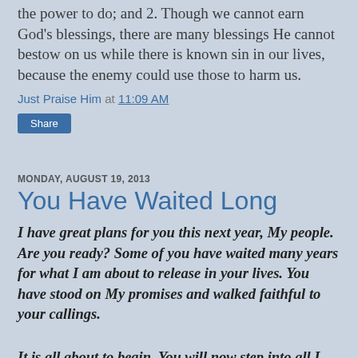the power to do; and 2. Though we cannot earn God's blessings, there are many blessings He cannot bestow on us while there is known sin in our lives, because the enemy could use those to harm us.
Just Praise Him at 11:09 AM
Share
MONDAY, AUGUST 19, 2013
You Have Waited Long
I have great plans for you this next year, My people. Are you ready? Some of you have waited many years for what I am about to release in your lives. You have stood on My promises and walked faithful to your callings.
It is all about to begin. You will now step into all I have called you to do.